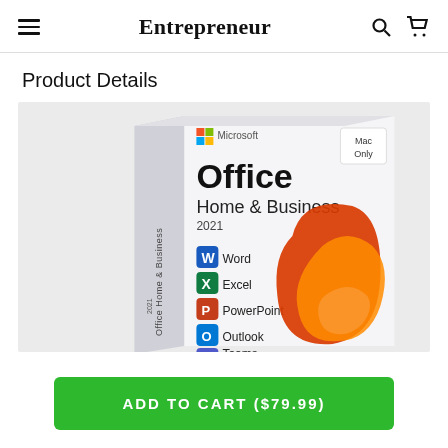Entrepreneur
Product Details
[Figure (photo): Microsoft Office Home & Business 2021 product box showing Word, Excel, PowerPoint, Outlook, Teams apps with the Office logo. A 'Mac Only' badge is visible in the top right corner of the image.]
ADD TO CART ($79.99)